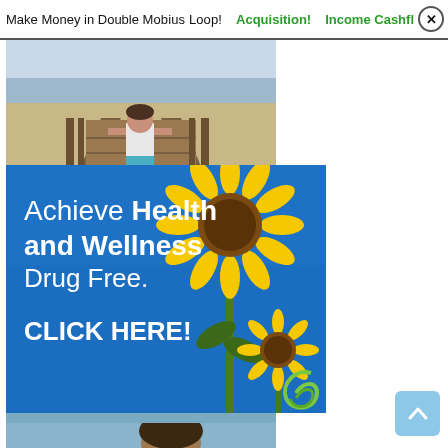Make Money in Double Mobius Loop! Income Cashflow Acquisition!
[Figure (photo): Person standing on wooden boardwalk steps leading to beach, viewed from behind]
[Figure (photo): Advertisement banner with blue background showing sunflowers and text: Achieve Health and Wellness Drug Free. CLICK HERE!]
[Figure (photo): Partial photo of person outdoors, cropped at bottom of page]
[Figure (other): Light blue scroll-to-top button with upward arrow]